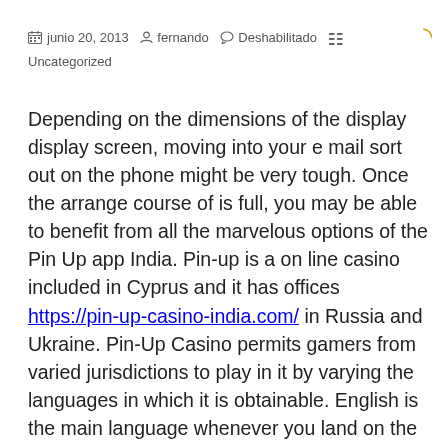junio 20, 2013  fernando  Deshabilitado  Uncategorized
Depending on the dimensions of the display display screen, moving into your e mail sort out on the phone might be very tough. Once the arrange course of is full, you may be able to benefit from all the marvelous options of the Pin Up app India. Pin-up is a on line casino included in Cyprus and it has offices https://pin-up-casino-india.com/ in Russia and Ukraine. Pin-Up Casino permits gamers from varied jurisdictions to play in it by varying the languages in which it is obtainable. English is the main language whenever you land on the web page, but you presumably can pick your language of choice earlier than you start taking part in.